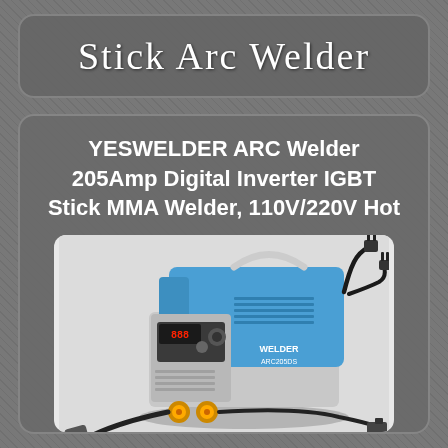Stick Arc Welder
YESWELDER ARC Welder 205Amp Digital Inverter IGBT Stick MMA Welder, 110V/220V Hot
[Figure (photo): Photo of a YESWELDER ARC Welder 205Amp Digital Inverter IGBT Stick MMA Welder, blue and grey compact unit with cables and clamps]